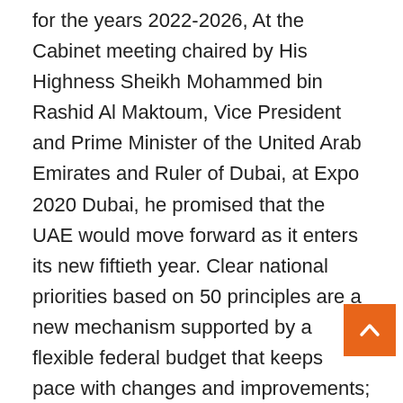for the years 2022-2026, At the Cabinet meeting chaired by His Highness Sheikh Mohammed bin Rashid Al Maktoum, Vice President and Prime Minister of the United Arab Emirates and Ruler of Dubai, at Expo 2020 Dubai, he promised that the UAE would move forward as it enters its new fiftieth year. Clear national priorities based on 50 principles are a new mechanism supported by a flexible federal budget that keeps pace with changes and improvements; He said: “We will enter the new fiftieth federal year with hope, optimism and global ambition. We have approved a new approach to public service in the future. Faster government. In strategic areas, projects and programs are not standard. On the contrary, projects and field efforts. ” On that day, he advised all government and private companies and groups in the country to work together and focus on change plans and priorities and